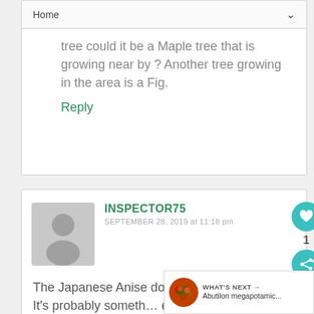Home
tree could it be a Maple tree that is growing near by ? Another tree growing in the area is a Fig.
Reply
INSPECTOR75
SEPTEMBER 28, 2019 at 11:18 pm
The Japanese Anise doesn't produce any sap. It's probably something else nearby, probably the
WHAT'S NEXT → Abutilon megapotamic...